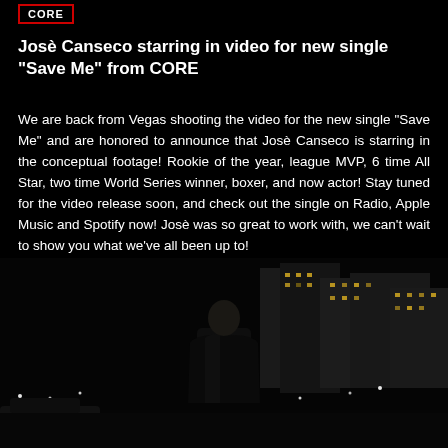CORE
Josè Canseco starring in video for new single "Save Me" from CORE
We are back from Vegas shooting the video for the new single "Save Me" and are honored to announce that Josè Canseco is starring in the conceptual footage! Rookie of the year, league MVP, 6 time All Star, two time World Series winner, boxer, and now actor! Stay tuned for the video release soon, and check out the single on Radio, Apple Music and Spotify now! Josè was so great to work with, we can't wait to show you what we've all been up to!
[Figure (photo): A man in a dark suit standing outdoors at night with a city skyline and illuminated buildings in the background]